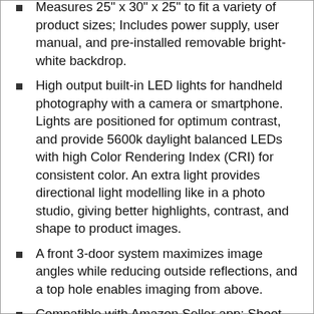Measures 25" x 30" x 25" to fit a variety of product sizes; Includes power supply, user manual, and pre-installed removable bright-white backdrop.
High output built-in LED lights for handheld photography with a camera or smartphone. Lights are positioned for optimum contrast, and provide 5600k daylight balanced LEDs with high Color Rendering Index (CRI) for consistent color. An extra light provides directional light modelling like in a photo studio, giving better highlights, contrast, and shape to product images.
A front 3-door system maximizes image angles while reducing outside reflections, and a top hole enables imaging from above.
Compatible with Amazon Seller app; Shoot, edit, and directly upload catalog images to Amazon.